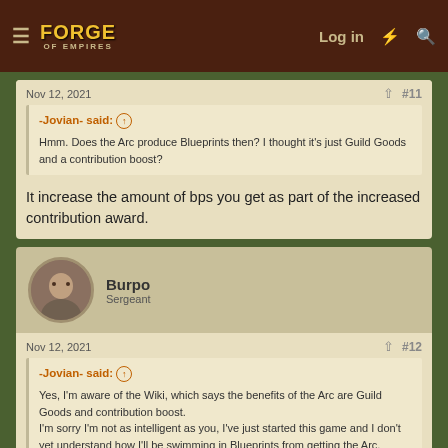Forge of Empires — Log in
Nov 12, 2021  #11
-Jovian- said: ↑
Hmm. Does the Arc produce Blueprints then? I thought it's just Guild Goods and a contribution boost?
It increase the amount of bps you get as part of the increased contribution award.
Burpo
Sergeant
Nov 12, 2021  #12
-Jovian- said: ↑
Yes, I'm aware of the Wiki, which says the benefits of the Arc are Guild Goods and contribution boost.
I'm sorry I'm not as intelligent as you, I've just started this game and I don't yet understand how I'll be swimming in Blueprints from getting the Arc,